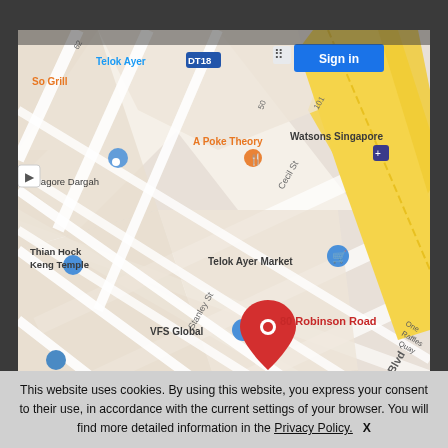[Figure (map): Google Maps screenshot showing 80 Robinson Road, Singapore. Map shows landmarks including Telok Ayer MRT (DT18), Nagore Dargah, Thian Hock Keng Temple, A Poke Theory, VFS Global, Watsons Singapore, Telok Ayer Market, Sofitel So Singapore, Robinson Centre, Singtel Digital, Shenton House, Masjid Al-Abrar, Huggs. A red location pin marks 80 Robinson Road. Yellow roads indicate major roads including Central Blvd. Sign In button visible top right. Satellite thumbnail and zoom controls visible.]
This website uses cookies. By using this website, you express your consent to their use, in accordance with the current settings of your browser. You will find more detailed information in the Privacy Policy. X